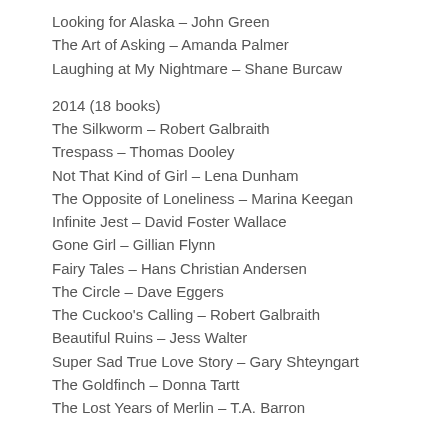Looking for Alaska – John Green
The Art of Asking – Amanda Palmer
Laughing at My Nightmare – Shane Burcaw
2014 (18 books)
The Silkworm – Robert Galbraith
Trespass – Thomas Dooley
Not That Kind of Girl – Lena Dunham
The Opposite of Loneliness – Marina Keegan
Infinite Jest – David Foster Wallace
Gone Girl – Gillian Flynn
Fairy Tales – Hans Christian Andersen
The Circle – Dave Eggers
The Cuckoo's Calling – Robert Galbraith
Beautiful Ruins – Jess Walter
Super Sad True Love Story – Gary Shteyngart
The Goldfinch – Donna Tartt
The Lost Years of Merlin – T.A. Barron